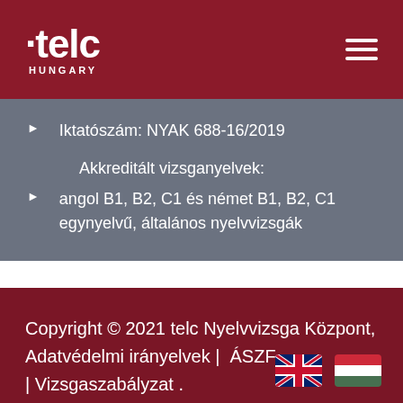[Figure (logo): telc HUNGARY logo in white on dark red background, with hamburger menu icon on the right]
Iktatószám: NYAK 688-16/2019
Akkreditált vizsganyelvek:
angol B1, B2, C1 és német B1, B2, C1 egynyelvű, általános nyelvvizsgák
Copyright © 2021 telc Nyelvvizsga Központ, Adatvédelmi irányelvek |  ÁSZF | Vizsgaszabályzat .